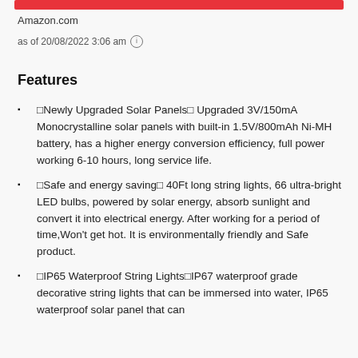Amazon.com
as of 20/08/2022 3:06 am
Features
🔆Newly Upgraded Solar Panels🔆 Upgraded 3V/150mA Monocrystalline solar panels with built-in 1.5V/800mAh Ni-MH battery, has a higher energy conversion efficiency, full power working 6-10 hours, long service life.
🌿Safe and energy saving🌿 40Ft long string lights, 66 ultra-bright LED bulbs, powered by solar energy, absorb sunlight and convert it into electrical energy. After working for a period of time,Won't get hot. It is environmentally friendly and Safe product.
🔒IP65 Waterproof String Lights🔒IP67 waterproof grade decorative string lights that can be immersed into water, IP65 waterproof solar panel that can